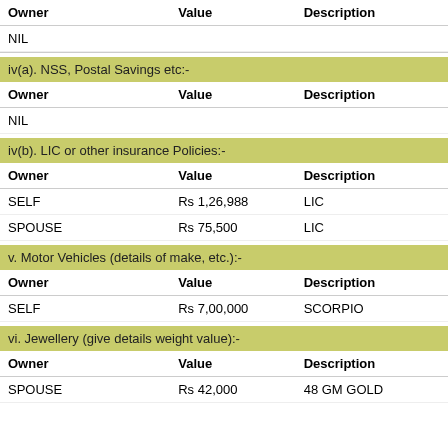| Owner | Value | Description |
| --- | --- | --- |
| NIL |  |  |
iv(a). NSS, Postal Savings etc:-
| Owner | Value | Description |
| --- | --- | --- |
| NIL |  |  |
iv(b). LIC or other insurance Policies:-
| Owner | Value | Description |
| --- | --- | --- |
| SELF | Rs 1,26,988 | LIC |
| SPOUSE | Rs 75,500 | LIC |
v. Motor Vehicles (details of make, etc.):-
| Owner | Value | Description |
| --- | --- | --- |
| SELF | Rs 7,00,000 | SCORPIO |
vi. Jewellery (give details weight value):-
| Owner | Value | Description |
| --- | --- | --- |
| SPOUSE | Rs 42,000 | 48 GM GOLD |